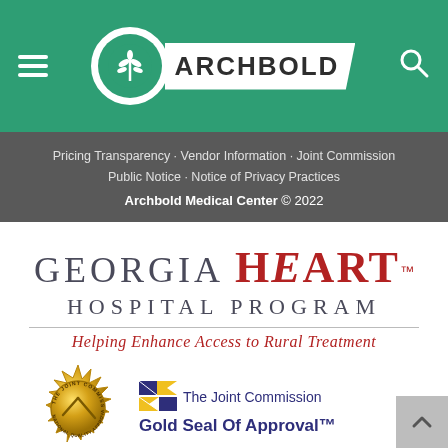[Figure (logo): Archbold Medical Center logo: green header bar with hamburger menu icon, circular green/white logo with plant emblem, white parallelogram with ARCHBOLD text in bold, and search icon]
Pricing Transparency · Vendor Information · Joint Commission · Public Notice · Notice of Privacy Practices
Archbold Medical Center © 2022
[Figure (logo): Georgia HEART Hospital Program logo with tagline 'Helping Enhance Access to Rural Treatment', The Joint Commission Gold Seal of Approval badge]
The Joint Commission Gold Seal Of Approval™